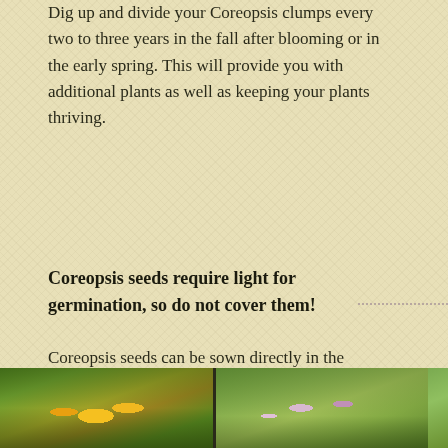Dig up and divide your Coreopsis clumps every two to three years in the fall after blooming or in the early spring. This will provide you with additional plants as well as keeping your plants thriving.
Coreopsis seeds require light for germination, so do not cover them!
Coreopsis seeds can be sown directly in the garden at any time from early spring, up until two months before the first killing frost.
Start your seeds indoors in early spring to early summer.
Maintain a temperature in the growing medium of 55°-70° during germination, which takes 20-25 days.
[Figure (photo): Two photos of Coreopsis flowers side by side: left shows yellow Coreopsis flowers in a garden setting, right shows purple/pink Coreopsis flowers in a meadow.]